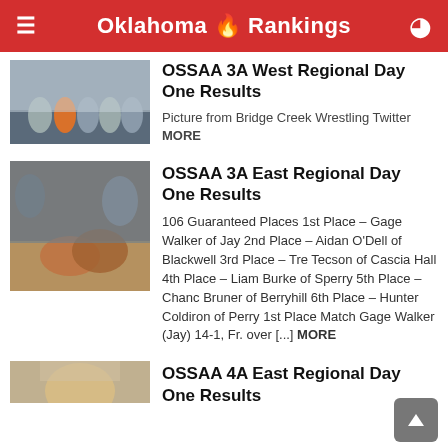Oklahoma 🔥 Rankings
OSSAA 3A West Regional Day One Results
Picture from Bridge Creek Wrestling Twitter MORE
[Figure (photo): Group of wrestlers and coaches posing indoors at an event]
OSSAA 3A East Regional Day One Results
[Figure (photo): Two wrestlers competing on a mat in a gymnasium]
106 Guaranteed Places 1st Place – Gage Walker of Jay 2nd Place – Aidan O'Dell of Blackwell 3rd Place – Tre Tecson of Cascia Hall 4th Place – Liam Burke of Sperry 5th Place – Chanc Bruner of Berryhill 6th Place – Hunter Coldiron of Perry 1st Place Match Gage Walker (Jay) 14-1, Fr. over [...] MORE
OSSAA 4A East Regional Day One Results
[Figure (photo): Person visible at bottom of page, partially cropped]